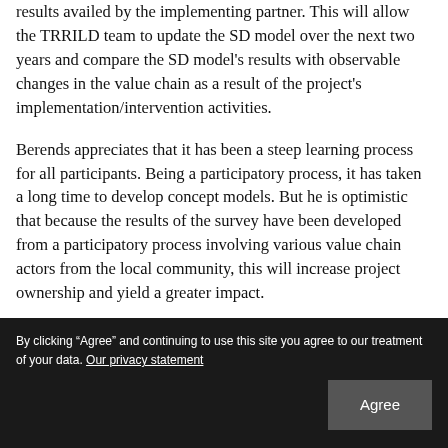results availed by the implementing partner. This will allow the TRRILD team to update the SD model over the next two years and compare the SD model's results with observable changes in the value chain as a result of the project's implementation/intervention activities.
Berends appreciates that it has been a steep learning process for all participants. Being a participatory process, it has taken a long time to develop concept models. But he is optimistic that because the results of the survey have been developed from a participatory process involving various value chain actors from the local community, this will increase project ownership and yield a greater impact.
By clicking “Agree” and continuing to use this site you agree to our treatment of your data. Our privacy statement